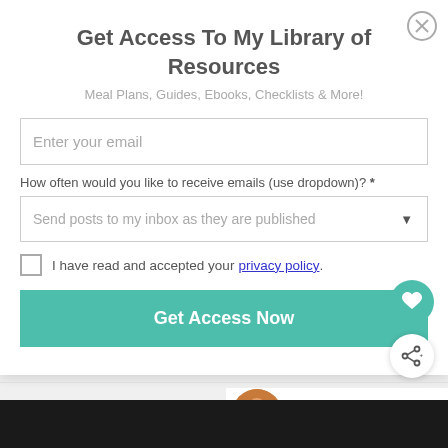Get Access To My Library of Resources
Meal Plans, Guides, Ebooks, Checklists & More!
Enter your email
How often would you like to receive emails (use dropdown)? *
Send posts to my inbox as they are published
I have read and accepted your privacy policy.
Get Access Now
WHAT'S NEXT → WIAWRD (011)